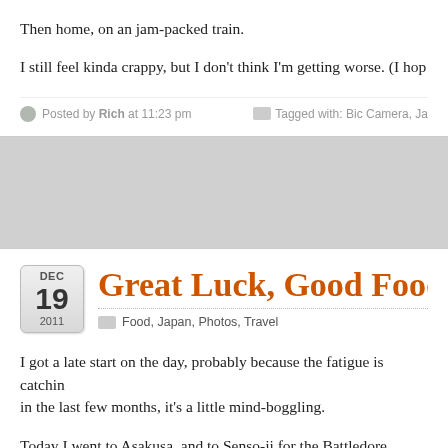Then home, on an jam-packed train.
I still feel kinda crappy, but I don't think I'm getting worse. (I hop
Posted by Rich at 11:23 pm   Tagged with: Bic Camera, Ja
Great Luck, Good Food, P
Food, Japan, Photos, Travel
I got a late start on the day, probably because the fatigue is catchin in the last few months, it's a little mind-boggling.
Today I went to Asakusa, and to Senso-ji for the Battledore Festiv